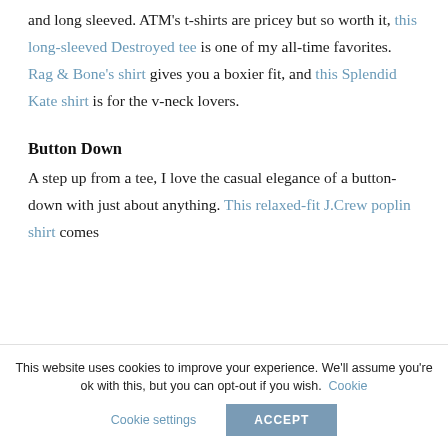and long sleeved. ATM's t-shirts are pricey but so worth it, this long-sleeved Destroyed tee is one of my all-time favorites. Rag & Bone's shirt gives you a boxier fit, and this Splendid Kate shirt is for the v-neck lovers.
Button Down
A step up from a tee, I love the casual elegance of a button-down with just about anything. This relaxed-fit J.Crew poplin shirt comes
This website uses cookies to improve your experience. We'll assume you're ok with this, but you can opt-out if you wish. Cookie settings ACCEPT